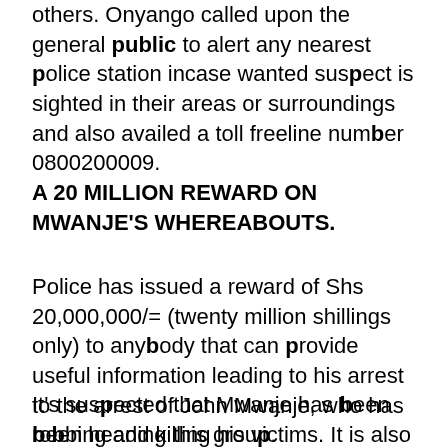others. Onyango called upon the general public to alert any nearest police station incase wanted suspect is sighted in their areas or surroundings and also availed a toll freeline number 0800200009.
A 20 MILLION REWARD ON MWANJE'S WHEREABOUTS.
Police has issued a reward of Shs 20,000,000/= (twenty million shillings only) to anybody that can provide useful information leading to his arrest to the arrest of John Mwanje, who has been heading this group.
It's suspected that Mwanje has been robbing and killing his victims. It is also highly believed that Mwanje could have having a gun that he uses in